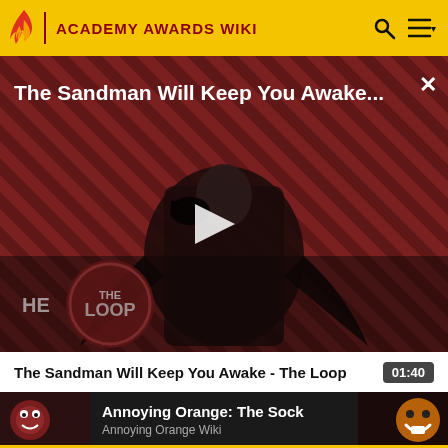ACADEMY AWARDS WIKI
[Figure (screenshot): Video thumbnail for 'The Sandman Will Keep You Awake - The Loop' showing a dark figure in a cape against a red diagonal-striped background with THE LOOP badge, featuring a play button overlay]
The Sandman Will Keep You Awake...
The Sandman Will Keep You Awake - The Loop 01:40
[Figure (screenshot): Video thumbnail for 'Annoying Orange: The Sock' on Annoying Orange Wiki, dark background with character images]
Annoying Orange: The Sock
Annoying Orange Wiki